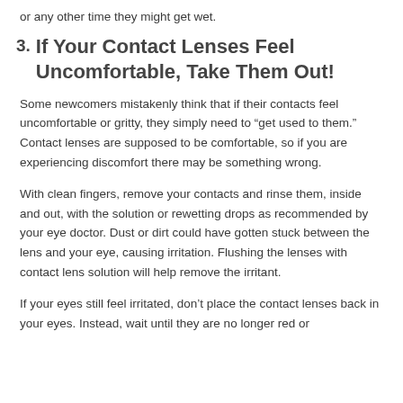or any other time they might get wet.
3. If Your Contact Lenses Feel Uncomfortable, Take Them Out!
Some newcomers mistakenly think that if their contacts feel uncomfortable or gritty, they simply need to “get used to them.” Contact lenses are supposed to be comfortable, so if you are experiencing discomfort there may be something wrong.
With clean fingers, remove your contacts and rinse them, inside and out, with the solution or rewetting drops as recommended by your eye doctor. Dust or dirt could have gotten stuck between the lens and your eye, causing irritation. Flushing the lenses with contact lens solution will help remove the irritant.
If your eyes still feel irritated, don’t place the contact lenses back in your eyes. Instead, wait until they are no longer red or